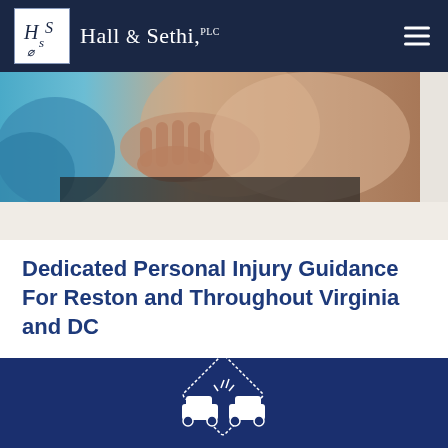Hall & Sethi, PLC
[Figure (photo): Close-up photo of a person touching or holding their neck/throat area suggesting a personal injury (neck pain/whiplash), with blue background element.]
Dedicated Personal Injury Guidance For Reston and Throughout Virginia and DC
[Figure (illustration): White car crash icon inside a diamond/rotated square outline on a dark navy blue background, representing auto accident practice area.]